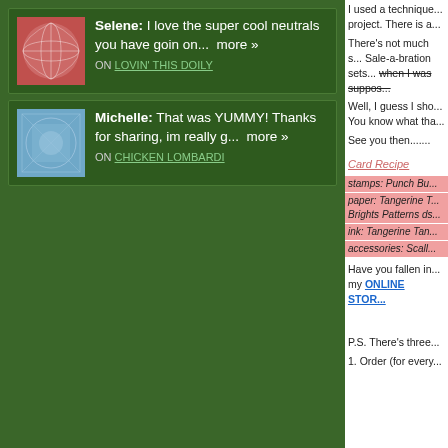Selene: I love the super cool neutrals you have goin on... more »
ON LOVIN' THIS DOILY
Michelle: That was YUMMY! Thanks for sharing, im really g... more »
ON CHICKEN LOMBARDI
I used a technique... project. There is a...
There's not much s... Sale-a-bration sets... when I was suppos...
Well, I guess I sho... You know what tha...
See you then.......
Card Recipe
stamps: Punch Bu...
paper: Tangerine T... Brights Patterns ds...
ink: Tangerine Tan...
accessories: Scall...
Have you fallen in... my ONLINE STORE
P.S. There's three...
1. Order (for every...